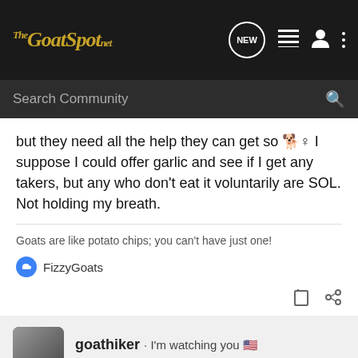The GoatSpot.net
but they need all the help they can get so 🐕 I suppose I could offer garlic and see if I get any takers, but any who don't eat it voluntarily are SOL. Not holding my breath.
Goats are like potato chips; you can't have just one!
FizzyGoats
goathiker · I'm watching you 🇺🇸
Joined Apr 13, 2011 · 22,719 Posts
#40 · May 18, 2022